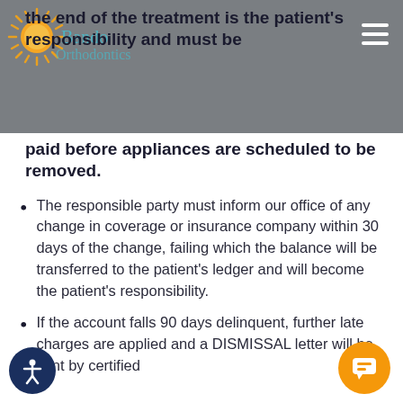the end of the treatment is the patient's responsibility and must be paid before appliances are scheduled to be removed.
paid before appliances are scheduled to be removed.
The responsible party must inform our office of any change in coverage or insurance company within 30 days of the change, failing which the balance will be transferred to the patient's ledger and will become the patient's responsibility.
If the account falls 90 days delinquent, further late charges are applied and a DISMISSAL letter will be sent by certified